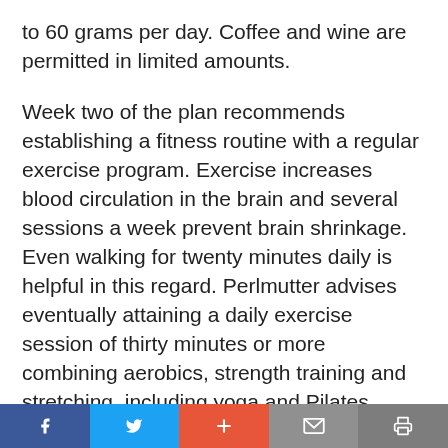to 60 grams per day. Coffee and wine are permitted in limited amounts.
Week two of the plan recommends establishing a fitness routine with a regular exercise program. Exercise increases blood circulation in the brain and several sessions a week prevent brain shrinkage. Even walking for twenty minutes daily is helpful in this regard. Perlmutter advises eventually attaining a daily exercise session of thirty minutes or more combining aerobics, strength training and stretching, including yoga and Pilates.
Social share bar with Facebook, Twitter, Plus, Mail, Print buttons